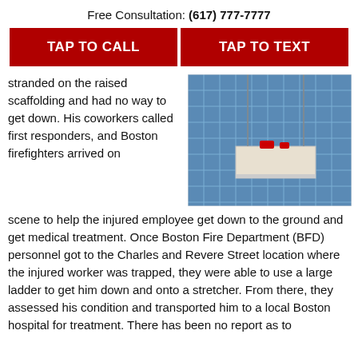Free Consultation: (617) 777-7777
TAP TO CALL
TAP TO TEXT
stranded on the raised scaffolding and had no way to get down. His coworkers called first responders, and Boston firefighters arrived on scene to help the injured employee get down to the ground and get medical treatment. Once Boston Fire Department (BFD) personnel got to the Charles and Revere Street location where the injured worker was trapped, they were able to use a large ladder to get him down and onto a stretcher. From there, they assessed his condition and transported him to a local Boston hospital for treatment. There has been no report as to
[Figure (photo): A suspended scaffolding platform on the side of a tall glass office building, with workers visible on it.]